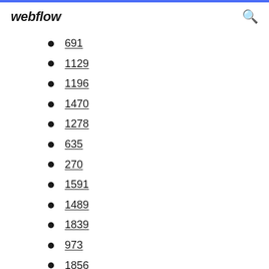webflow
691
1129
1196
1470
1278
635
270
1591
1489
1839
973
1856
1225